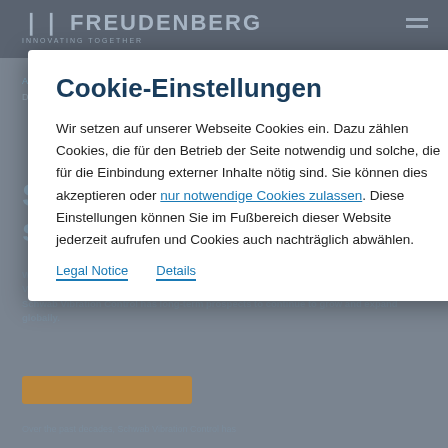FREUDENBERG | INNOVATING TOGETHER
Cookie-Einstellungen
Wir setzen auf unserer Webseite Cookies ein. Dazu zählen Cookies, die für den Betrieb der Seite notwendig und solche, die für die Einbindung externer Inhalte nötig sind. Sie können dies akzeptieren oder nur notwendige Cookies zulassen. Diese Einstellungen können Sie im Fußbereich dieser Website jederzeit aufrufen und Cookies auch nachträglich abwählen.
Legal Notice    Details